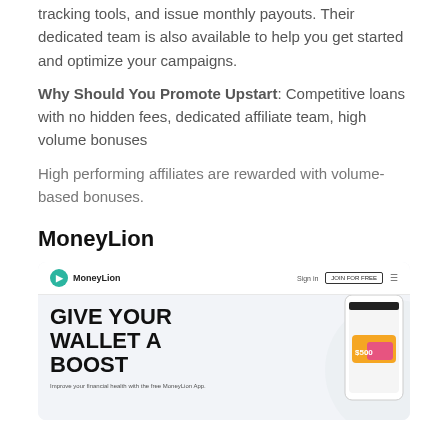tracking tools, and issue monthly payouts. Their dedicated team is also available to help you get started and optimize your campaigns.
Why Should You Promote Upstart: Competitive loans with no hidden fees, dedicated affiliate team, high volume bonuses
High performing affiliates are rewarded with volume-based bonuses.
MoneyLion
[Figure (screenshot): MoneyLion website screenshot showing the MoneyLion logo and navigation bar with 'Sign in' and 'JOIN FOR FREE' button, and the hero section displaying 'GIVE YOUR WALLET A BOOST' headline with a phone mockup on the right and 'Improve your financial health with the free MoneyLion App.' subtext at the bottom.]